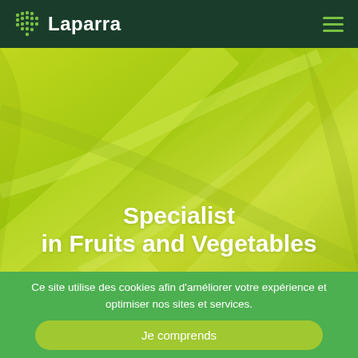[Figure (logo): Laparra logo with green dot-grid icon and white text 'Laparra' on dark green header background]
[Figure (photo): Close-up macro photograph of bright yellow-green vegetable leaves (chicory/lettuce) used as hero background]
Specialist in Fruits and Vegetables
Ce site utilise des cookies afin d'améliorer votre expérience et optimiser nos sites et services.
Je comprends